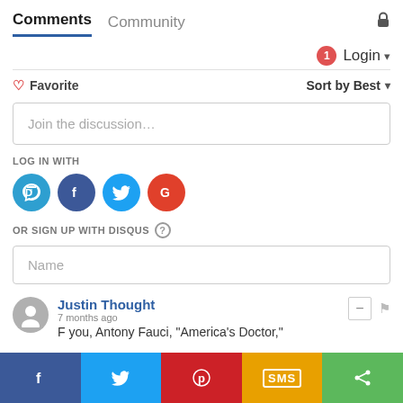Comments  Community 🔒
1  Login ▾
♡ Favorite   Sort by Best ▾
Join the discussion...
LOG IN WITH
[Figure (infographic): Four social login icons: Disqus (blue speech bubble with D), Facebook (dark blue circle with F), Twitter (light blue circle with bird), Google (red circle with G)]
OR SIGN UP WITH DISQUS ?
Name
Justin Thought
7 months ago
F you, Antony Fauci, "America's Doctor,"
[Figure (infographic): Social share bar with 5 buttons: Facebook (blue), Twitter (light blue), Pinterest (red), SMS (yellow/gold), Share (green)]